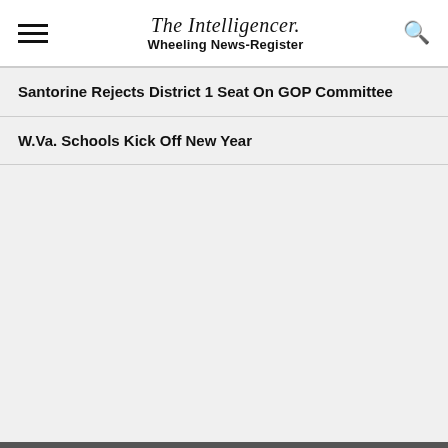The Intelligencer. Wheeling News-Register
Santorine Rejects District 1 Seat On GOP Committee
W.Va. Schools Kick Off New Year